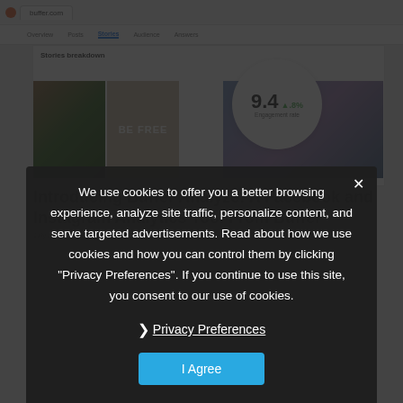[Figure (screenshot): Browser screenshot showing Buffer Analyze Stories breakdown page with engagement rate circle showing 9.4 and +8%, with social media image thumbnails]
Introducing Buffer Analyze: A Facebook and Instagram Analytics Tool From Buffer
We use cookies to offer you a better browsing experience, analyze site traffic, personalize content, and serve targeted advertisements. Read about how we use cookies and how you can control them by clicking "Privacy Preferences". If you continue to use this site, you consent to our use of cookies.
❯ Privacy Preferences
I Agree